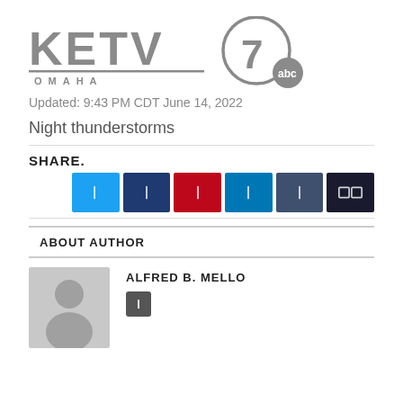[Figure (logo): KETV 7 ABC Omaha logo in gray]
Updated: 9:43 PM CDT June 14, 2022
Night thunderstorms
SHARE.
[Figure (infographic): Row of social media share buttons: Twitter (blue), Facebook (dark blue), Pinterest (red), LinkedIn (teal), Email (slate blue), More (dark navy)]
ABOUT AUTHOR
[Figure (photo): Generic gray silhouette avatar placeholder image]
ALFRED B. MELLO